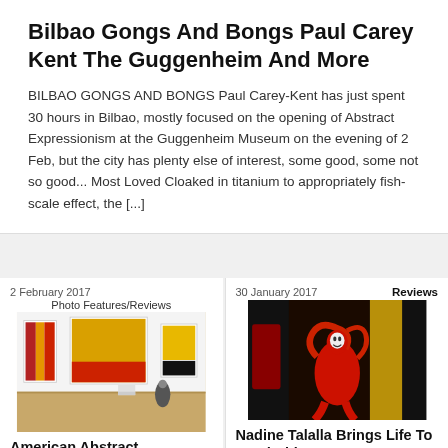Bilbao Gongs And Bongs Paul Carey Kent The Guggenheim And More
BILBAO GONGS AND BONGS Paul Carey-Kent has just spent 30 hours in Bilbao, mostly focused on the opening of Abstract Expressionism at the Guggenheim Museum on the evening of 2 Feb, but the city has plenty else of interest, some good, some not so good... Most Loved Cloaked in titanium to appropriately fish-scale effect, the [...]
2 February 2017
Photo Features/Reviews
[Figure (photo): Gallery interior showing large abstract expressionist paintings in red, yellow, and black on white walls, with wooden floor and visitors]
American Abstract Expressionism
30 January 2017
Reviews
[Figure (photo): Painting of a red figure with dark background and yellow accents, figurative expressionist style]
Nadine Talalla Brings Life To Dead Abject